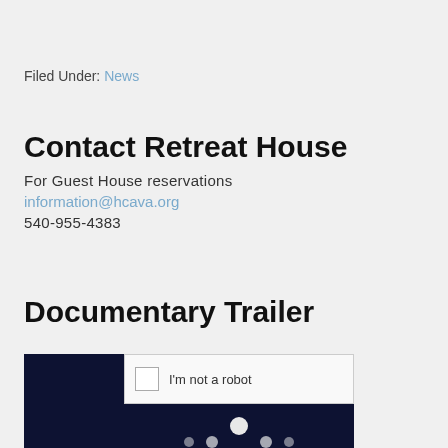Filed Under: News
Contact Retreat House
For Guest House reservations
information@hcava.org
540-955-4383
Documentary Trailer
[Figure (screenshot): A video player thumbnail showing a dark navy background with a CAPTCHA 'I'm not a robot' overlay and some dots visible at the bottom]